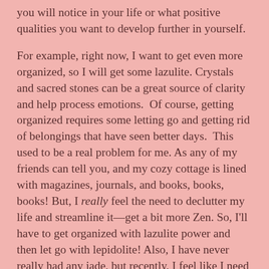you will notice in your life or what positive qualities you want to develop further in yourself.

For example, right now, I want to get even more organized, so I will get some lazulite. Crystals and sacred stones can be a great source of clarity and help process emotions.  Of course, getting organized requires some letting go and getting rid of belongings that have seen better days.  This used to be a real problem for me. As any of my friends can tell you, and my cozy cottage is lined with magazines, journals, and books, books, books! But, I really feel the need to declutter my life and streamline it—get a bit more Zen. So, I'll have to get organized with lazulite power and then let go with lepidolite! Also, I have never really had any jade, but recently, I feel like I need the grounding and stabilizing effects of this stone. Additionally, I need to get more prosperity-minded. I need to be better about saving money and thinking in terms of my future security so I'm not reading tarot out on the sidewalk when I'm 90! So, I have been walking through San Francisco's